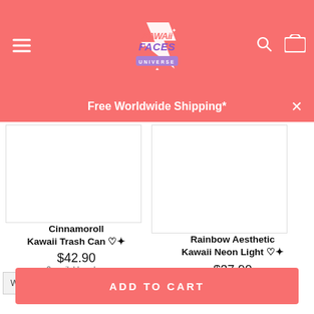[Figure (logo): Kawaii Faces Universe logo - white stylized text on coral/red background with purple UNIVERSE badge]
Free Worldwide Shipping*
[Figure (photo): Cinnamoroll Kawaii Trash Can product image - white background]
[Figure (photo): Rainbow Aesthetic Kawaii Neon Light product image - white background]
Cinnamoroll Kawaii Trash Can ♡✦
$42.90
2 available colors
★★★★★ (1)
Rainbow Aesthetic Kawaii Neon Light ♡✦
$37.90
WHITE
ADD TO CART